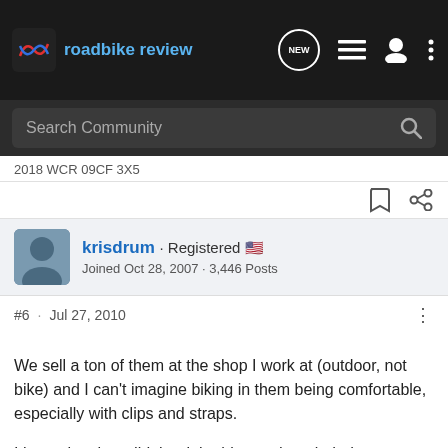[Figure (logo): Road Bike Review logo with nav icons]
Search Community
2018 WCR 09CF 3X5
krisdrum · Registered 🇺🇸
Joined Oct 28, 2007 · 3,446 Posts
#6 · Jul 27, 2010
We sell a ton of them at the shop I work at (outdoor, not bike) and I can't imagine biking in them being comfortable, especially with clips and straps.

I hope the shop did the right thing and reminded you to ease into using them for doing whatever you are going to do in them, they take an adjustment period.